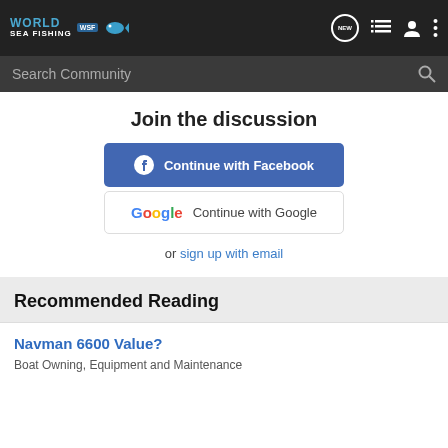World Sea Fishing WSF
Search Community
Join the discussion
Continue with Facebook
Continue with Google
or sign up with email
Recommended Reading
Navman 6600 Value?
Boat Owning, Equipment and Maintenance